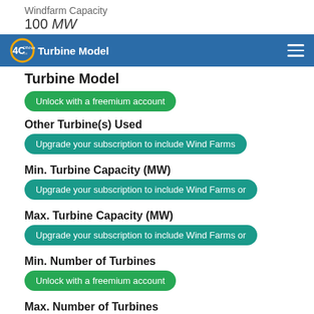Windfarm Capacity
100 MW
4C Offshore | TGS — Turbine Model
Turbine Model
Unlock with a freemium account
Other Turbine(s) Used
Upgrade your subscription to include Wind Farms
Min. Turbine Capacity (MW)
Upgrade your subscription to include Wind Farms or
Max. Turbine Capacity (MW)
Upgrade your subscription to include Wind Farms or
Min. Number of Turbines
Unlock with a freemium account
Max. Number of Turbines
Upgrade your subscription to include Wind Farms or
Total Turbine Height